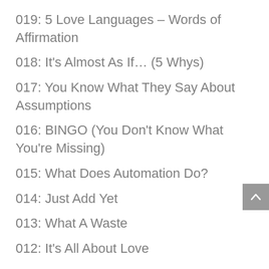019: 5 Love Languages – Words of Affirmation
018: It's Almost As If… (5 Whys)
017: You Know What They Say About Assumptions
016: BINGO (You Don't Know What You're Missing)
015: What Does Automation Do?
014: Just Add Yet
013: What A Waste
012: It's All About Love